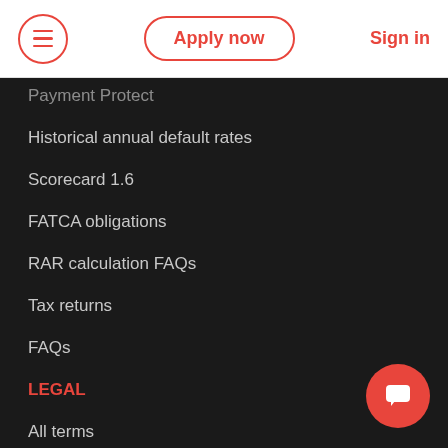Apply now | Sign in
Payment Protect
Historical annual default rates
Scorecard 1.6
FATCA obligations
RAR calculation FAQs
Tax returns
FAQs
LEGAL
All terms
Customer service terms
Privacy policy
Loan Contract (standard contract terms)
Disclosure statement